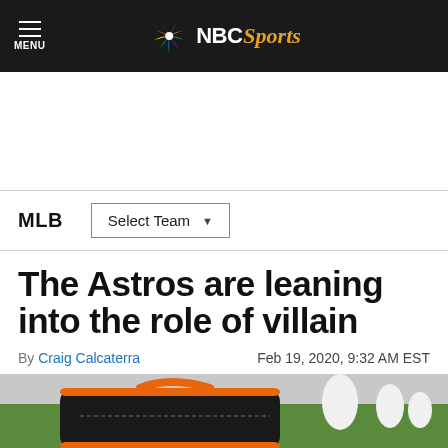NBC Sports
MLB  Select Team
The Astros are leaning into the role of villain
By Craig Calcaterra  Feb 19, 2020, 9:32 AM EST
[Figure (photo): A black and orange sports bag or equipment bag on a green field, with players in white uniforms in the background.]